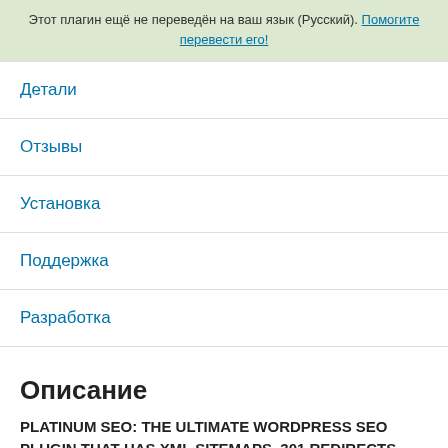Этот плагин ещё не переведён на ваш язык (Русский). Помогите перевести его!
Детали
Отзывы
Установка
Поддержка
Разработка
Описание
PLATINUM SEO: THE ULTIMATE WORDPRESS SEO PLUGIN THAT HAS XML SITEMAPS, 301 REDIRECTS, 404 ERROR MANAGER, JSON SCHEMA FOR STRUCTURED DATA REPRESENTATION AND MORE.